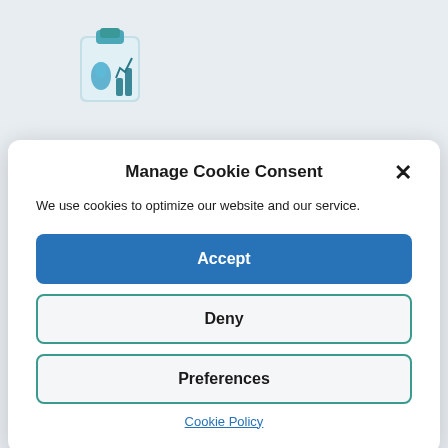[Figure (logo): App icon showing a clipboard with a water droplet and teal/blue chart graphic in the top-left background area]
Manage Cookie Consent
We use cookies to optimize our website and our service.
Accept
Deny
Preferences
Cookie Policy
[Figure (logo): Green and teal pixelated globe/location pin logo in the bottom center background area]